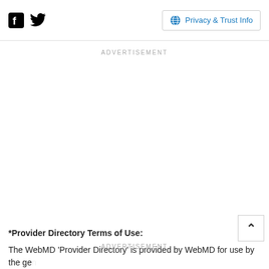Facebook Twitter | Privacy & Trust Info
ADVERTISEMENT
*Provider Directory Terms of Use:
The WebMD 'Provider Directory' is provided by WebMD for use by the general public as a quick reference of information about Providers. The Provider
ADVERTISEMENT